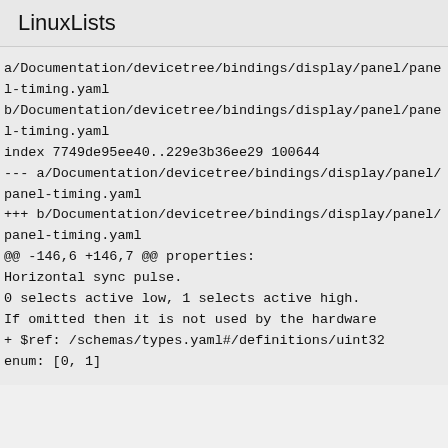LinuxLists
a/Documentation/devicetree/bindings/display/panel/panel-timing.yaml
b/Documentation/devicetree/bindings/display/panel/panel-timing.yaml
index 7749de95ee40..229e3b36ee29 100644
--- a/Documentation/devicetree/bindings/display/panel/panel-timing.yaml
+++ b/Documentation/devicetree/bindings/display/panel/panel-timing.yaml
@@ -146,6 +146,7 @@ properties:
Horizontal sync pulse.
0 selects active low, 1 selects active high.
If omitted then it is not used by the hardware
+ $ref: /schemas/types.yaml#/definitions/uint32
enum: [0, 1]